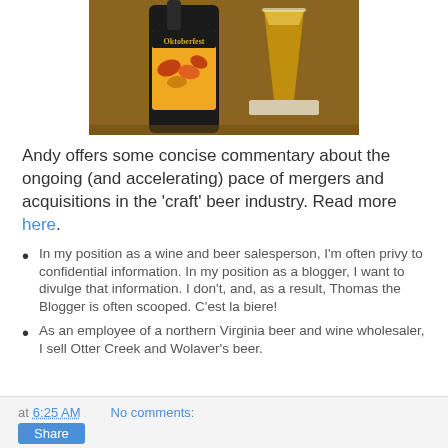[Figure (photo): A photo of an Oktoberfest beer bottle with autumn leaf label design and a glass of beer on a wooden table surface]
Andy offers some concise commentary about the ongoing (and accelerating) pace of mergers and acquisitions in the 'craft' beer industry. Read more here.
In my position as a wine and beer salesperson, I'm often privy to confidential information. In my position as a blogger, I want to divulge that information. I don't, and, as a result, Thomas the Blogger is often scooped. C'est la biere!
As an employee of a northern Virginia beer and wine wholesaler, I sell Otter Creek and Wolaver's beer.
at 6:25 AM   No comments: